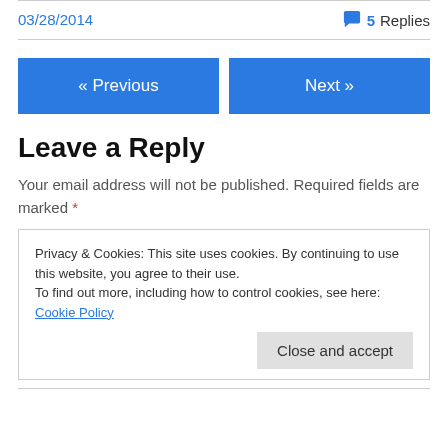03/28/2014
5 Replies
« Previous
Next »
Leave a Reply
Your email address will not be published. Required fields are marked *
Privacy & Cookies: This site uses cookies. By continuing to use this website, you agree to their use. To find out more, including how to control cookies, see here: Cookie Policy
Close and accept